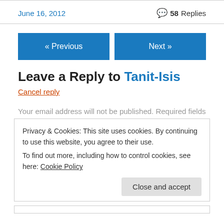June 16, 2012
💬 58 Replies
« Previous
Next »
Leave a Reply to Tanit-Isis
Cancel reply
Your email address will not be published. Required fields
Privacy & Cookies: This site uses cookies. By continuing to use this website, you agree to their use.
To find out more, including how to control cookies, see here: Cookie Policy
Close and accept